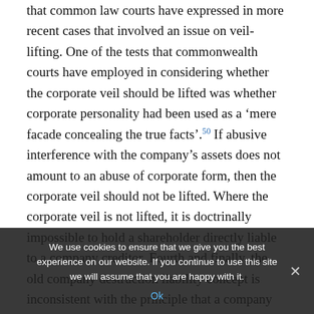that common law courts have expressed in more recent cases that involved an issue on veil-lifting. One of the tests that commonwealth courts have employed in considering whether the corporate veil should be lifted was whether corporate personality had been used as a 'mere facade concealing the true facts'.50 If abusive interference with the company's assets does not amount to an abuse of corporate form, then the corporate veil should not be lifted. Where the corporate veil is not lifted, it is doctrinally impossible to hold a shareholder directly liable to a company creditor. Fourth and finally, the old company destruction liability concept is inconsistent with the principle that a company possesses a separate legal personality, a fundamental company law principle enshrined in the GmbHG.51 Subjecting a shareholder who has committed a wrong against the company to a direct action by a
We use cookies to ensure that we give you the best experience on our website. If you continue to use this site we will assume that you are happy with it. Ok